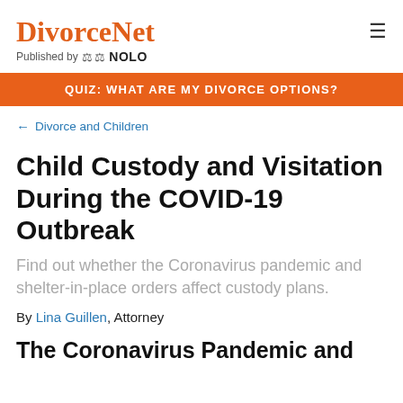DivorceNet Published by NOLO
QUIZ: WHAT ARE MY DIVORCE OPTIONS?
← Divorce and Children
Child Custody and Visitation During the COVID-19 Outbreak
Find out whether the Coronavirus pandemic and shelter-in-place orders affect custody plans.
By Lina Guillen, Attorney
The Coronavirus Pandemic and